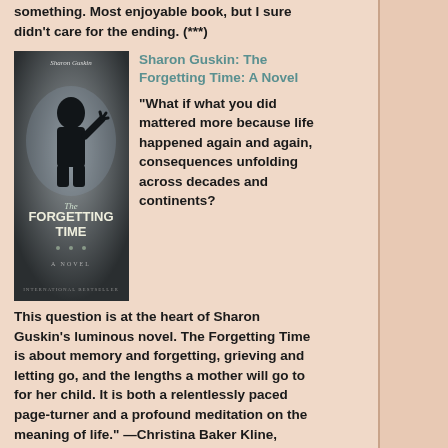something. Most enjoyable book, but I sure didn't care for the ending. (***)
[Figure (illustration): Book cover for 'The Forgetting Time' by Sharon Guskin — dark atmospheric cover with silhouette of child against misty background]
Sharon Guskin: The Forgetting Time: A Novel
"What if what you did mattered more because life happened again and again, consequences unfolding across decades and continents? This question is at the heart of Sharon Guskin's luminous novel. The Forgetting Time is about memory and forgetting, grieving and letting go, and the lengths a mother will go to for her child. It is both a relentlessly paced page-turner and a profound meditation on the meaning of life." —Christina Baker Kline, author of The Orphan Train (****)
[Figure (illustration): Book cover for 'The Last Days of Night' by Graham Moore — dark teal cover with city spires]
Graham Moore: The Last Days of Night: A Novel
This is my book club's